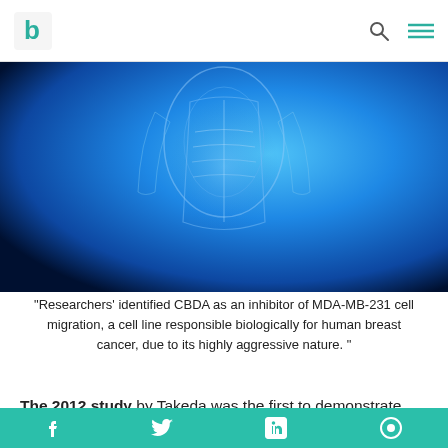b [logo] [search icon] [menu icon]
[Figure (photo): Blue X-ray style illustration of a human torso showing internal organs and skeletal structure against a dark blue background.]
“Researchers' identified CBDA as an inhibitor of MDA-MB-231 cell migration, a cell line responsible biologically for human breast cancer, due to its highly aggressive nature. "
The 2012 study by Takeda was the first to demonstrate that CBDA effectively inhibits the spread of highly invasive breast cancer cells in humans. In 2014, Takeda and his team found that CBDA was able to suppress breast cancer cells by inhibiting cyclooxygenase-2 (COX-2), an enzyme known to be involved in inflammatory processes and in metastasis of cancer cells.
f  t  in  [share icon]